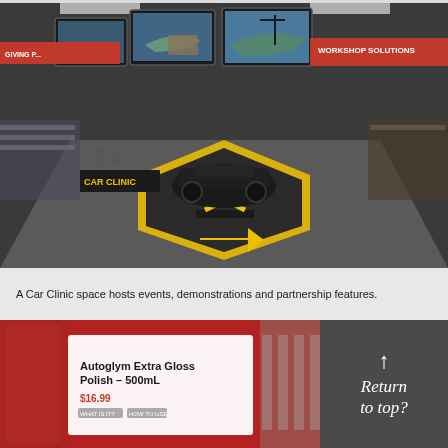[Figure (photo): Interior of a retail automotive store showing a Car Clinic display area. A modified black vehicle is raised on a yellow scissor lift in the center of a hexagonal black and yellow floor display. Large screens hang from the ceiling showing vehicles. Store shelving with products visible in the background with red signage reading 'Workshop Solutions'.]
A Car Clinic space hosts events, demonstrations and partnership features.
[Figure (photo): Close-up of a red retail display kiosk showing product signage for 'Autoglym Extra Gloss Polish - 500mL' with price $16.99 in red. Additional product packaging visible in background on shelves.]
[Figure (other): Dark grey box with upward arrow and italic white text reading 'Return to top?']